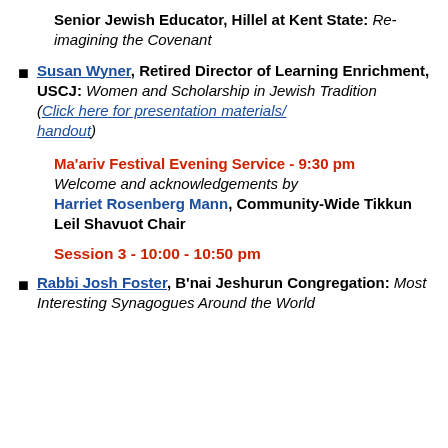Senior Jewish Educator, Hillel at Kent State: Re-imagining the Covenant
Susan Wyner, Retired Director of Learning Enrichment, USCJ: Women and Scholarship in Jewish Tradition (Click here for presentation materials/handout)
Ma'ariv Festival Evening Service - 9:30 pm Welcome and acknowledgements by Harriet Rosenberg Mann, Community-Wide Tikkun Leil Shavuot Chair
Session 3 - 10:00 - 10:50 pm
Rabbi Josh Foster, B'nai Jeshurun Congregation: Most Interesting Synagogues Around the World